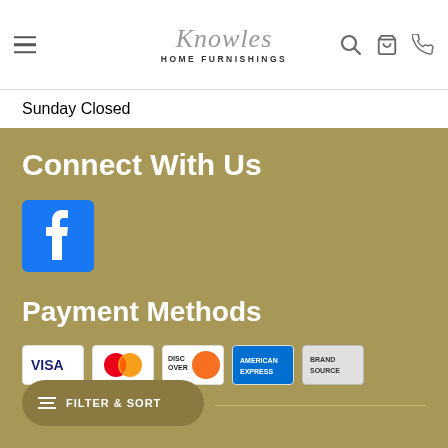Knowles Home Furnishings — navigation header with hamburger menu, logo, search, cart, and phone icons
Sunday Closed
Connect With Us
[Figure (logo): Facebook logo icon — blue square with white 'f' letter]
Payment Methods
[Figure (logo): Payment method icons: Visa, MasterCard, Discover, American Express, Brand Source]
FILTER & SORT